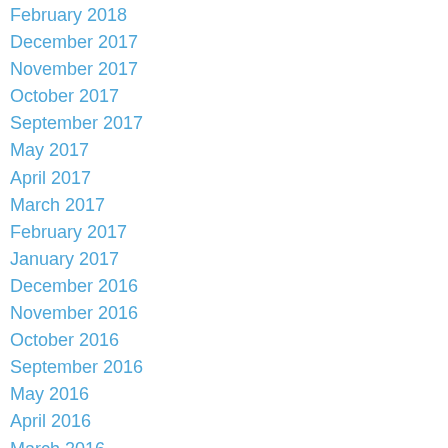February 2018
December 2017
November 2017
October 2017
September 2017
May 2017
April 2017
March 2017
February 2017
January 2017
December 2016
November 2016
October 2016
September 2016
May 2016
April 2016
March 2016
February 2016
December 2015
November 2015
October 2015